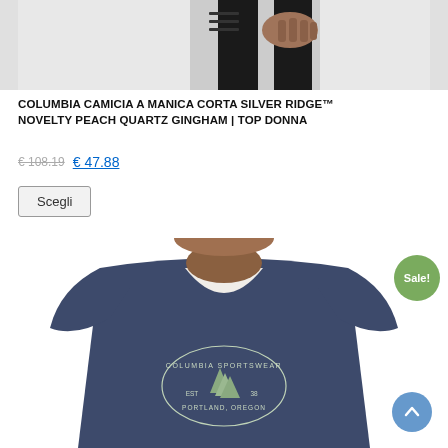[Figure (photo): Top portion of a woman wearing black pants, cropped at waist level, light gray background]
COLUMBIA CAMICIA A MANICA CORTA SILVER RIDGE™ NOVELTY PEACH QUARTZ GINGHAM | TOP DONNA
€ 108.19  € 47.88
Scegli
[Figure (photo): Woman wearing a dark navy blue V-neck Columbia Sportswear t-shirt with EST 38 Portland, Oregon logo and pine trees graphic]